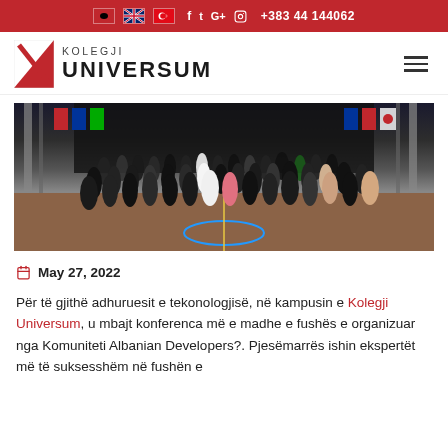🇦🇱 🇬🇧 🇹🇷  f  t  G+  📷  +383 44 144062
[Figure (logo): Kolegji Universum logo with red diagonal stripe icon and text KOLEGJI UNIVERSUM]
[Figure (photo): Group photo of approximately 60-70 people standing on an outdoor basketball court in front of a dark stage backdrop with flags visible on both sides]
May 27, 2022
Për të gjithë adhuruesit e tekonologjisë, në kampusin e Kolegji Universum, u mbajt konferenca më e madhe e fushës e organizuar nga Komuniteti Albanian Developers?. Pjesëmarrës ishin ekspertët më të suksesshëm në fushën e